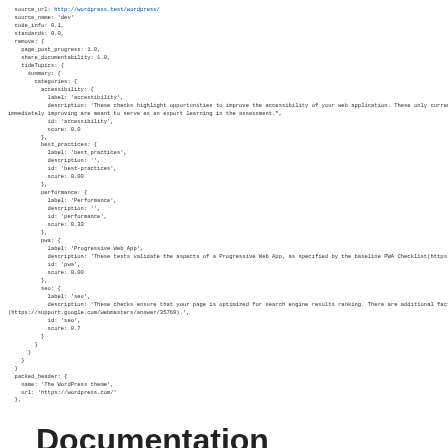[Figure (screenshot): Code block showing JSON/YAML configuration with fields including source_url, source_name, code_info, standards, page_post_progress, share_documentability, tideTopics with subcategories (accessibility, best_practices, performance, pwa, seo), and packed_header with name and url fields.]
Documentation
The prototype version of Tide from WordCamp US was built as a proof-of-concept and had limited documentation; what did exist then was mainly within the README file for setup instructions on AWS.  For 1.0.0-beta, we've significantly extended the documentation to